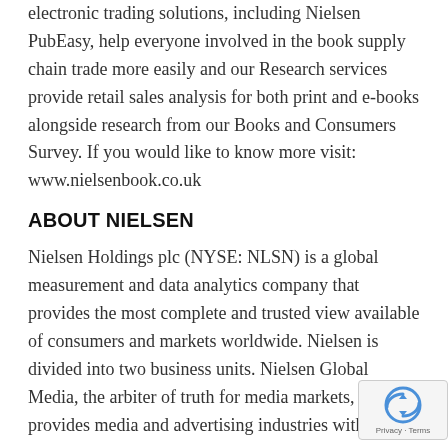electronic trading solutions, including Nielsen PubEasy, help everyone involved in the book supply chain trade more easily and our Research services provide retail sales analysis for both print and e-books alongside research from our Books and Consumers Survey. If you would like to know more visit: www.nielsenbook.co.uk
ABOUT NIELSEN
Nielsen Holdings plc (NYSE: NLSN) is a global measurement and data analytics company that provides the most complete and trusted view available of consumers and markets worldwide. Nielsen is divided into two business units. Nielsen Global Media, the arbiter of truth for media markets, provides media and advertising industries with